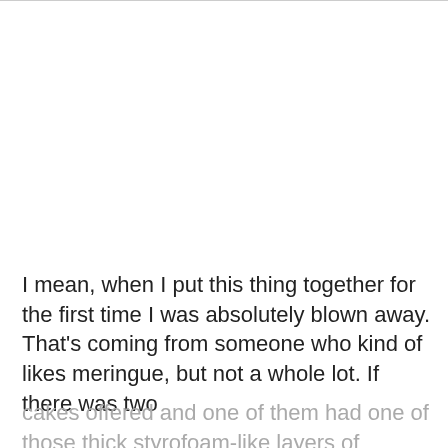I mean, when I put this thing together for the first time I was absolutely blown away. That's coming from someone who kind of likes meringue, but not a whole lot. If there was two cakes offered and one of them had one of those thick styrofoam-like layers of meringue, I would